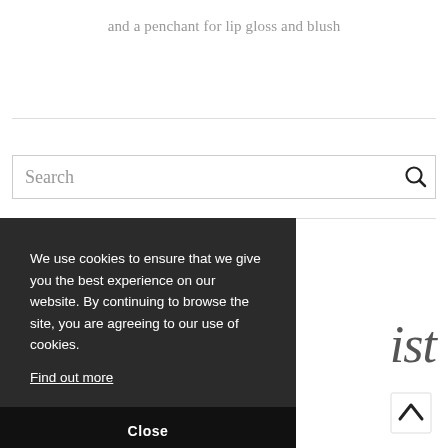and a penchant for lip gloss and blush
Search
We use cookies to ensure that we give you the best experience on our website. By continuing to browse the site, you are agreeing to our use of cookies.
Find out more
Close
ist